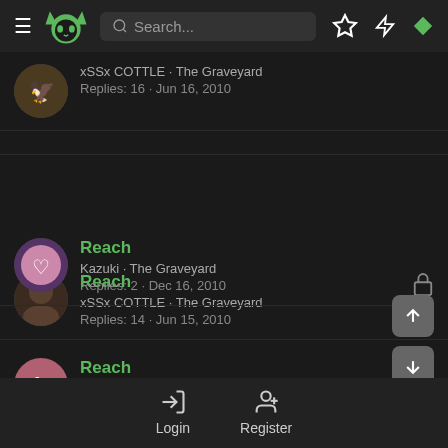[Figure (screenshot): Dark-themed forum app header with hamburger menu, green cat logo, search bar, star icon, lightning icon, and green diamond icon]
xSSx COTTLE · The Graveyard
Replies: 16 · Jun 16, 2010
Reach
xSSx COTTLE · The Graveyard
Replies: 14 · Jun 15, 2010
Reach
Kazuki · The Graveyard
Replies: 2 · Dec 16, 2010
Reach
Lawls · The Graveyard
Replies: 9 · Aug 21, 2010
Login  Register